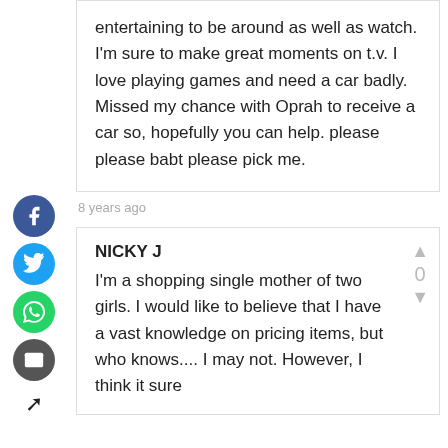entertaining to be around as well as watch. I'm sure to make great moments on t.v. I love playing games and need a car badly. Missed my chance with Oprah to receive a car so, hopefully you can help. please please babt please pick me.
8 years ago
NICKY J
I'm a shopping single mother of two girls. I would like to believe that I have a vast knowledge on pricing items, but who knows.... I may not. However, I think it sure would be FUN to find out...